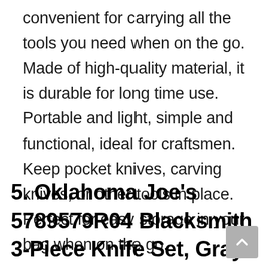convenient for carrying all the tools you need when on the go. Made of high-quality material, it is durable for long time use. Portable and light, simple and functional, ideal for craftsmen. Keep pocket knives, carving knives, or other tools in place. Perfect for easy storage in your bag when on the go.
5. Oklahoma Joe's 5789579R04 Blacksmith 3-Piece Knife Set, Gray